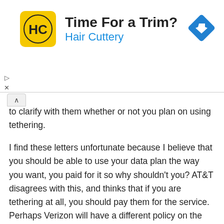[Figure (advertisement): Hair Cuttery ad banner with yellow logo showing HC letters, bold text 'Time For a Trim?' and blue text 'Hair Cuttery', with blue diamond navigation icon on the right]
to clarify with them whether or not you plan on using tethering.
I find these letters unfortunate because I believe that you should be able to use your data plan the way you want, you paid for it so why shouldn't you? AT&T disagrees with this, and thinks that if you are tethering at all, you should pay them for the service. Perhaps Verizon will have a different policy on the matter?
On a positive note, you could also look at this like AT&T might be allowing MyWi usage as long as you pay for the data tethering privilege. This would be good news for iPhone 3G users who are unable to access the official